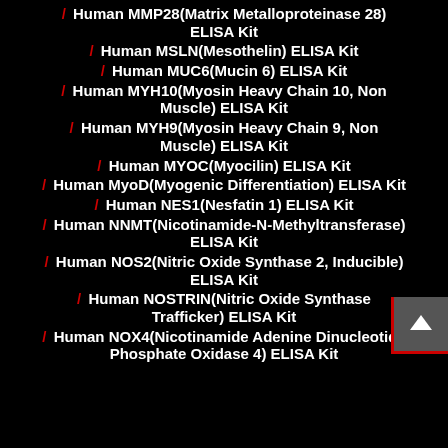/ Human MMP28(Matrix Metalloproteinase 28) ELISA Kit
/ Human MSLN(Mesothelin) ELISA Kit
/ Human MUC6(Mucin 6) ELISA Kit
/ Human MYH10(Myosin Heavy Chain 10, Non Muscle) ELISA Kit
/ Human MYH9(Myosin Heavy Chain 9, Non Muscle) ELISA Kit
/ Human MYOC(Myocilin) ELISA Kit
/ Human MyoD(Myogenic Differentiation) ELISA Kit
/ Human NES1(Nesfatin 1) ELISA Kit
/ Human NNMT(Nicotinamide-N-Methyltransferase) ELISA Kit
/ Human NOS2(Nitric Oxide Synthase 2, Inducible) ELISA Kit
/ Human NOSTRIN(Nitric Oxide Synthase Trafficker) ELISA Kit
/ Human NOX4(Nicotinamide Adenine Dinucleotide Phosphate Oxidase 4) ELISA Kit